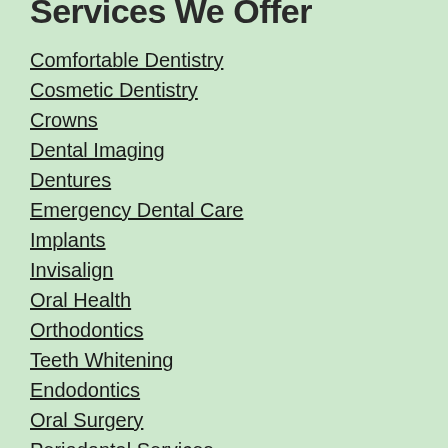Services We Offer
Comfortable Dentistry
Cosmetic Dentistry
Crowns
Dental Imaging
Dentures
Emergency Dental Care
Implants
Invisalign
Oral Health
Orthodontics
Teeth Whitening
Endodontics
Oral Surgery
Periodontal Services